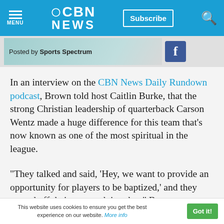CBN NEWS
[Figure (screenshot): Social media post preview from Sports Spectrum with Facebook icon]
In an interview on the CBN News Daily Rundown podcast, Brown told host Caitlin Burke, that the strong Christian leadership of quarterback Carson Wentz made a huge difference for this team that's now known as one of the most spiritual in the league.
"They talked and said, 'Hey, we want to provide an opportunity for players to be baptized,' and they started off their season doing that." Brown
This website uses cookies to ensure you get the best experience on our website. More info